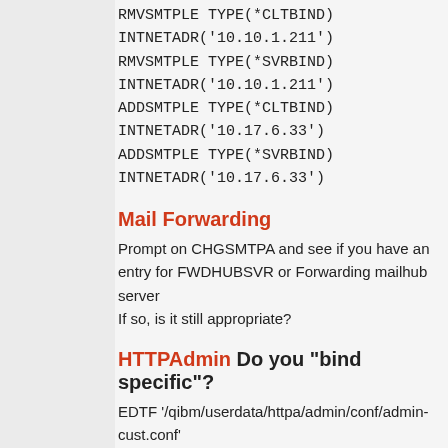RMVSMTPLE TYPE(*CLTBIND)
INTNETADR('10.10.1.211')
RMVSMTPLE TYPE(*SVRBIND)
INTNETADR('10.10.1.211')
ADDSMTPLE TYPE(*CLTBIND)
INTNETADR('10.17.6.33')
ADDSMTPLE TYPE(*SVRBIND)
INTNETADR('10.17.6.33')
Mail Forwarding
Prompt on CHGSMTPA and see if you have an entry for FWDHUBSVR or Forwarding mailhub server
If so, is it still appropriate?
HTTPAdmin Do you "bind specific"?
EDTF '/qibm/userdata/httpa/admin/conf/admin-cust.conf'
Listen 10.17.6.33:2001
WRKLNK '/www/*'
For each entry drill into the conf directory and edit the httpd.conf file.
General setup directives
Listen 10.17.6.33:83